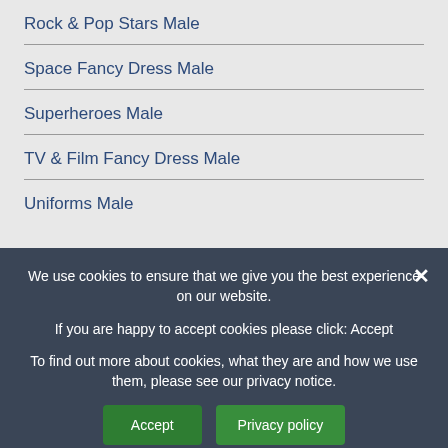Rock & Pop Stars Male
Space Fancy Dress Male
Superheroes Male
TV & Film Fancy Dress Male
Uniforms Male
We use cookies to ensure that we give you the best experience on our website.
If you are happy to accept cookies please click: Accept
To find out more about cookies, what they are and how we use them, please see our privacy notice.
Accept
Privacy policy